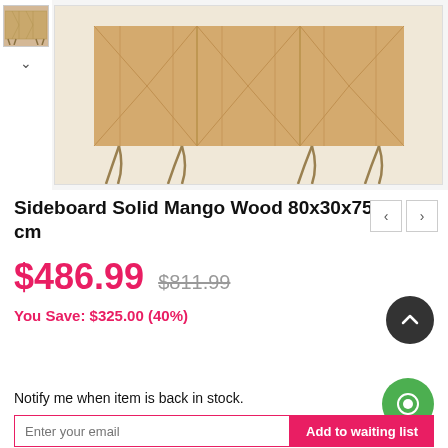[Figure (photo): Product image of a wooden sideboard with geometric chevron pattern on doors and hairpin metal legs. A small thumbnail of the same product is shown on the left side.]
Sideboard Solid Mango Wood 80x30x75 cm
$486.99  $811.99
You Save: $325.00 (40%)
OUT OF STOCK
Notify me when item is back in stock.
Enter your email
Add to waiting list